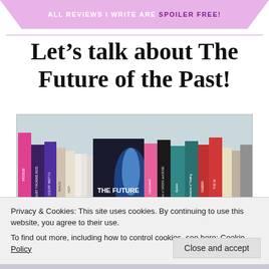ALL REVIEWS I WRITE ARE SPOILER FREE!
Let’s talk about The Future of the Past!
[Figure (photo): Photo of a bookshelf showing multiple book spines including 'The Future of the Past' prominently displayed with a blue cover, alongside other books such as Vicious, A Court of Thorns and Roses, Uprooted, Daughter of Smoke and Bone, Queen of Tearling, Invasion of Tearling, and others.]
Privacy & Cookies: This site uses cookies. By continuing to use this website, you agree to their use.
To find out more, including how to control cookies, see here: Cookie Policy
Close and accept